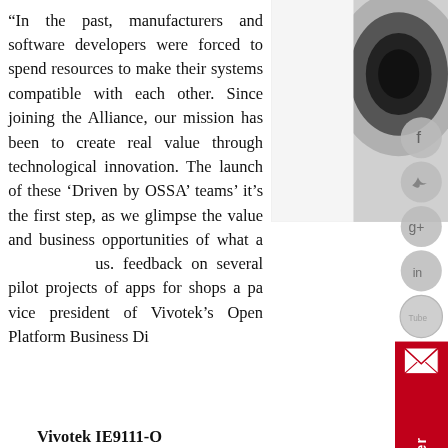“In the past, manufacturers and software developers were forced to spend resources to make their systems compatible with each other. Since joining the Alliance, our mission has been to create real value through technological innovation. The launch of these ‘Driven by OSSA’ teams’ it’s the first step, as we glimpse the value and business opportunities of what [awaits] us. feedback on several pilot projects of apps for shops a[nd] pa[rtners,] vice president of Vivotek's Open Platform Business Di[vision]
[Figure (photo): Close-up photo of a security camera lens, top-right of page]
[Figure (other): Social media sidebar icons: Facebook, Twitter, Google+, LinkedIn, YouTube; and a red newsletter button with envelope icon]
Vivotek IE9111-O
[Figure (photo): Vivotek Insight device hardware photo, white rectangular box with VIVOTEK INSIGHT branding]
IE [edge com] Qualcomm operating